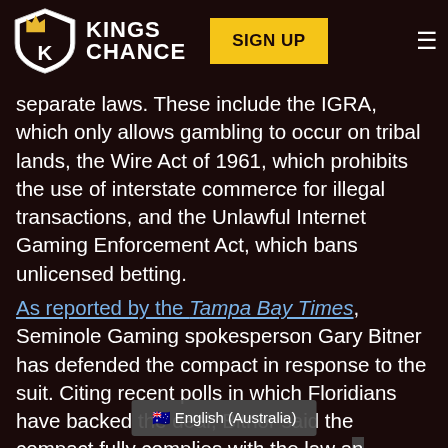KINGS CHANCE | SIGN UP
separate laws. These include the IGRA, which only allows gambling to occur on tribal lands, the Wire Act of 1961, which prohibits the use of interstate commerce for illegal transactions, and the Unlawful Internet Gaming Enforcement Act, which bans unlicensed betting.
As reported by the Tampa Bay Times, Seminole Gaming spokesperson Gary Bitner has defended the compact in response to the suit. Citing recent polls in which Floridians have backed the deal, Bitnor said the compact fully complies with the law and revenue sharing in its
🇦🇺 English (Australia)